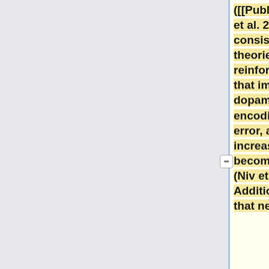([[Publications#ZaghEtal09|Zaghloul et al. 2009]]). This is consistent with current theories of human reinforcement learning that implicate dopaminergic neurons in encoding prediction error, a value that increases as rewards become more surprising (Niv et al 2009). Additionally, we found that neurons in the